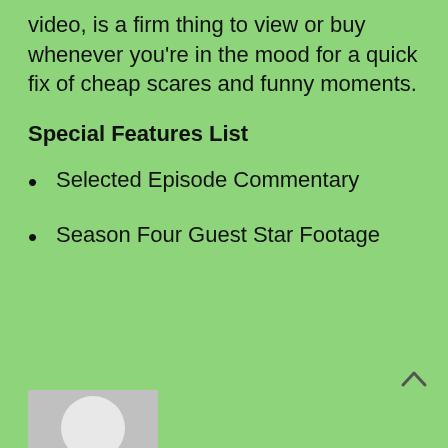video, is a firm thing to view or buy whenever you're in the mood for a quick fix of cheap scares and funny moments.
Special Features List
Selected Episode Commentary
Season Four Guest Star Footage